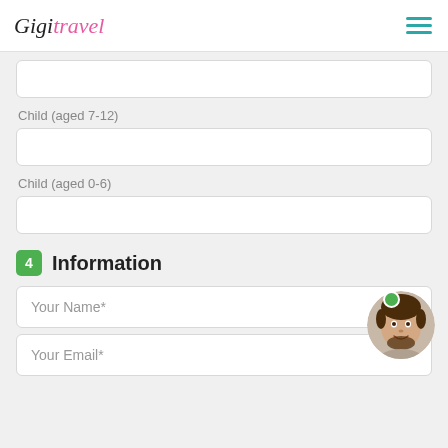Gigi travel
Child (aged 7-12)
Child (aged 0-6)
4 Information
Your Name*
Your Email*